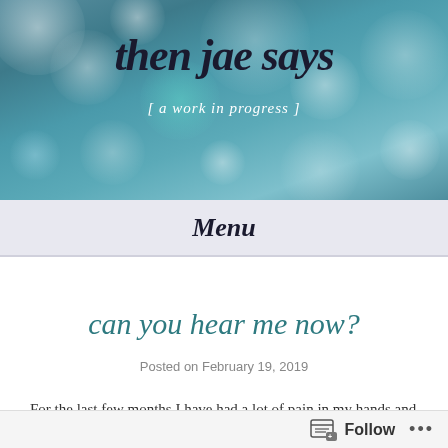[Figure (illustration): Blog header banner with teal/blue bokeh bokeh background featuring blurred light circles in white, blue, and green tones]
then jae says
[ a work in progress ]
Menu
can you hear me now?
Posted on February 19, 2019
For the last few months I have had a lot of pain in my hands and
Follow ...